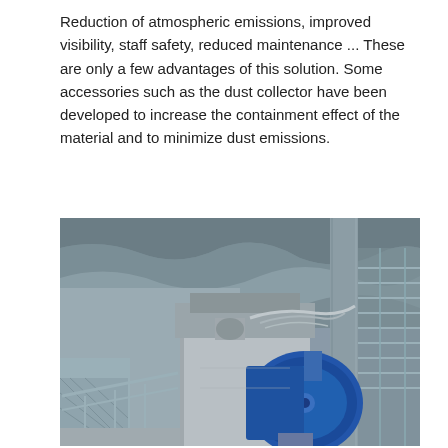Reduction of atmospheric emissions, improved visibility, staff safety, reduced maintenance ... These are only a few advantages of this solution. Some accessories such as the dust collector have been developed to increase the containment effect of the material and to minimize dust emissions.
[Figure (photo): Industrial equipment photo showing a dust collector or containment system with a large blue cylindrical component (fan/blower), metal structural frame, conveyor or transfer point components, concrete base, metal railings, and rocky terrain/quarry in the background.]